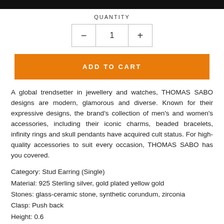QUANTITY
- 1 +
ADD TO CART
A global trendsetter in jewellery and watches, THOMAS SABO designs are modern, glamorous and diverse. Known for their expressive designs, the brand's collection of men's and women's accessories, including their iconic charms, beaded bracelets, infinity rings and skull pendants have acquired cult status. For high-quality accessories to suit every occasion, THOMAS SABO has you covered.
Category: Stud Earring (Single)
Material: 925 Sterling silver, gold plated yellow gold
Stones: glass-ceramic stone, synthetic corundum, zirconia
Clasp: Push back
Height: 0.6...